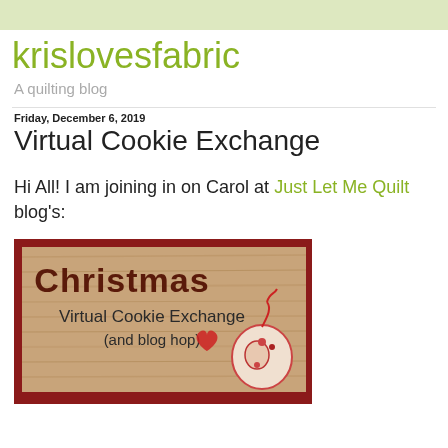krislovesfabric
A quilting blog
Friday, December 6, 2019
Virtual Cookie Exchange
Hi All!  I am joining in on Carol at Just Let Me Quilt blog's:
[Figure (illustration): Christmas Virtual Cookie Exchange (and blog hop) banner image with handwritten-style text on a wooden background, with a decorative Christmas cookie ornament, framed by a dark red border.]